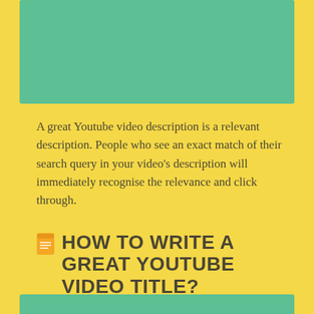[Figure (other): Green/teal colored rectangular image placeholder at the top of the page]
A great Youtube video description is a relevant description. People who see an exact match of their search query in your video's description will immediately recognise the relevance and click through.
HOW TO WRITE A GREAT YOUTUBE VIDEO TITLE?
Els Van de Veire  /  27/01/2016  /  Blog article
[Figure (other): Green/teal colored bottom strip partially visible at the very bottom of the page]